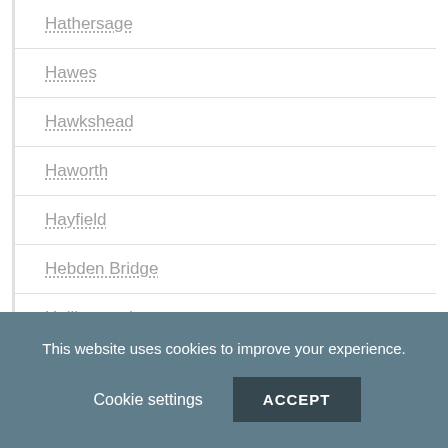Hathersage
Hawes
Hawkshead
Haworth
Hayfield
Hebden Bridge
Hollingworth
Holmfirth
Hurst Green
This website uses cookies to improve your experience.
Cookie settings
ACCEPT